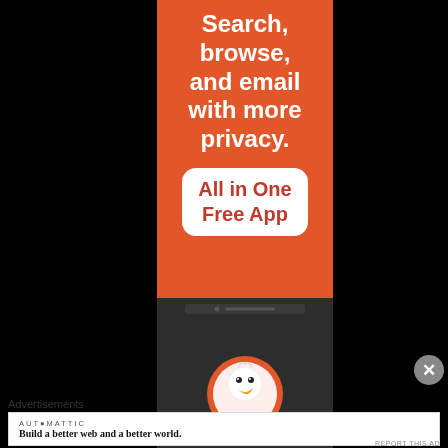[Figure (infographic): DuckDuckGo advertisement on orange background with text: Search, browse, and email with more privacy. All in One Free App. Below shows phone with DuckDuckGo duck logo.]
Advertisements
[Figure (logo): Automattic logo with tagline: Build a better web and a better world.]
REPORT THIS AD